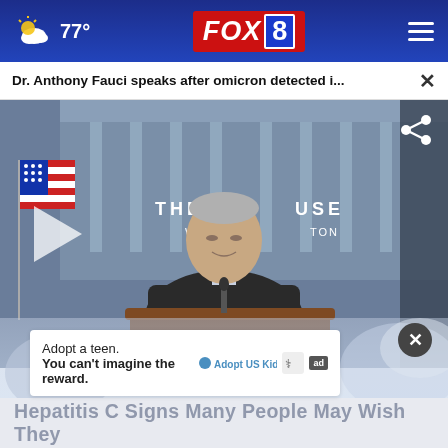77° FOX 8
Dr. Anthony Fauci speaks after omicron detected i...  ×
[Figure (photo): Dr. Anthony Fauci standing at a podium at the White House briefing room, speaking. An American flag is visible to his left. Text on the backdrop reads 'THE WHITE HOUSE, WASHINGTON'. A play button icon is overlaid on the left side.]
Adopt a teen. You can't imagine the reward.
Hepatitis C Signs Many People May Wish They